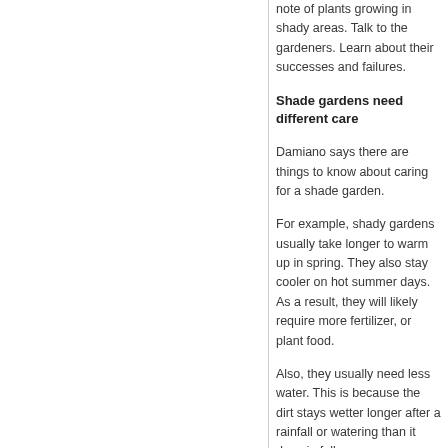note of plants growing in shady areas. Talk to the gardeners. Learn about their successes and failures.
Shade gardens need different care
Damiano says there are things to know about caring for a shade garden.
For example, shady gardens usually take longer to warm up in spring. They also stay cooler on hot summer days. As a result, they will likely require more fertilizer, or plant food.
Also, they usually need less water. This is because the dirt stays wetter longer after a rainfall or watering than it does in full sun.
However, if the shade is